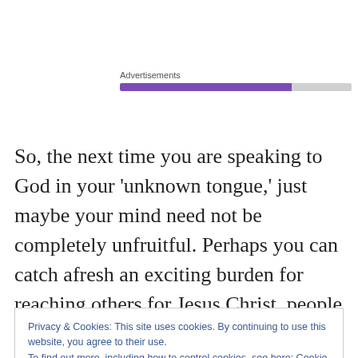Advertisements
So, the next time you are speaking to God in your 'unknown tongue,' just maybe your mind need not be completely unfruitful. Perhaps you can catch afresh an exciting burden for reaching others for Jesus Christ, people who are far, far away, powerfully demonstrating that 'everyone who calls upon' His Name shall be saved
Privacy & Cookies: This site uses cookies. By continuing to use this website, you agree to their use.
To find out more, including how to control cookies, see here: Cookie Policy
Close and accept